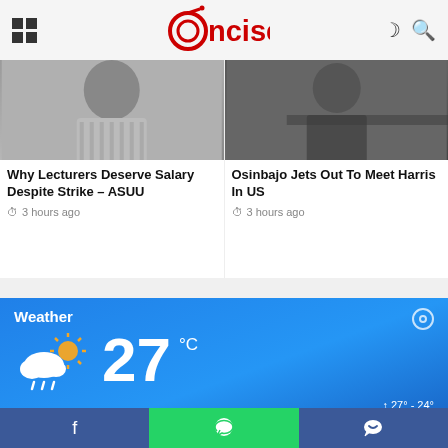Concise - news website header with grid menu, logo, moon and search icons
Why Lecturers Deserve Salary Despite Strike – ASUU
3 hours ago
Osinbajo Jets Out To Meet Harris In US
3 hours ago
[Figure (infographic): Weather widget showing 27°C, partly cloudy with rain, location Ikeja, temperature range 27°-24°, humidity 85%]
Facebook | WhatsApp | Messenger navigation bar